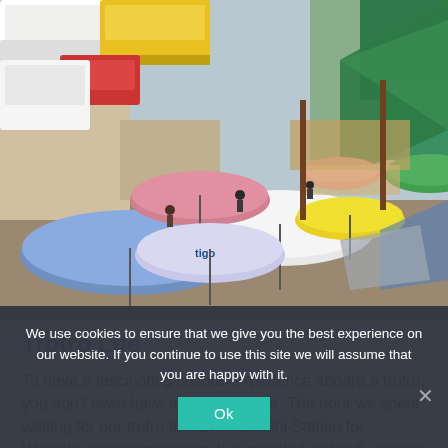[Figure (photo): Aerial/overhead view of a busy African market or transit station with colorful umbrellas (blue, white, pink, green, yellow), market stalls, minibuses and vehicles, and crowds of people. A Tigo-branded umbrella is visible in the center-left.]
Trotro Life
To have a fascinating cultural experience aboard a trotro, you don't even have to go anywhere. The hour we spent waiting for our trotro to leave Kaneshi Station for Winneba was excruciating, but provided a steady stream of entertainment that the average visitor to the city...
We use cookies to ensure that we give you the best experience on our website. If you continue to use this site we will assume that you are happy with it.